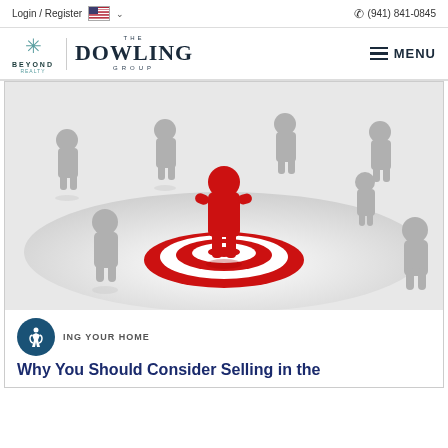Login / Register  (941) 841-0845
[Figure (logo): Beyond Realty and The Dowling Group logos with MENU button]
[Figure (photo): 3D illustration of grey human figures surrounding a red human figure standing on a red bullseye target]
ING YOUR HOME
Why You Should Consider Selling in the